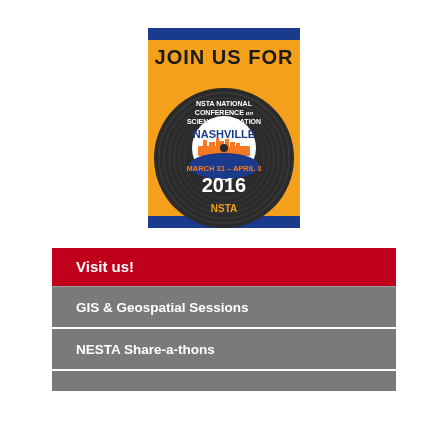[Figure (illustration): NSTA National Conference on Science Education promotional poster. Blue top and bottom borders, orange/gold background with bold text 'JOIN US FOR'. Below in dark circular record-disc design: 'NSTA NATIONAL CONFERENCE on SCIENCE EDUCATION'. Center white circle with 'NASHVILLE' in blue, Nashville skyline in orange, 'MARCH 31 – APRIL 3' in orange, '2016' in white. NSTA logo at bottom.]
Visit us!
GIS & Geospatial Sessions
NESTA Share-a-thons